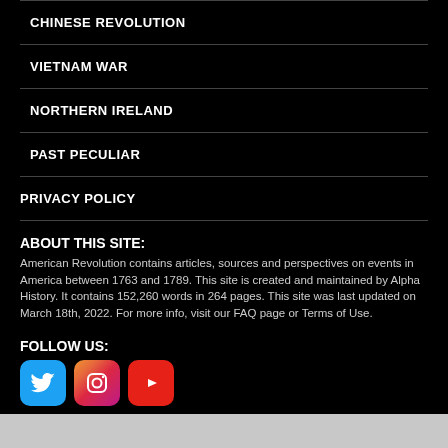CHINESE REVOLUTION
VIETNAM WAR
NORTHERN IRELAND
PAST PECULIAR
PRIVACY POLICY
ABOUT THIS SITE:
American Revolution contains articles, sources and perspectives on events in America between 1763 and 1789. This site is created and maintained by Alpha History. It contains 152,260 words in 264 pages. This site was last updated on March 18th, 2022. For more info, visit our FAQ page or Terms of Use.
FOLLOW US:
[Figure (illustration): Social media icons: Twitter (blue bird), Instagram (gradient camera), YouTube (red play button)]